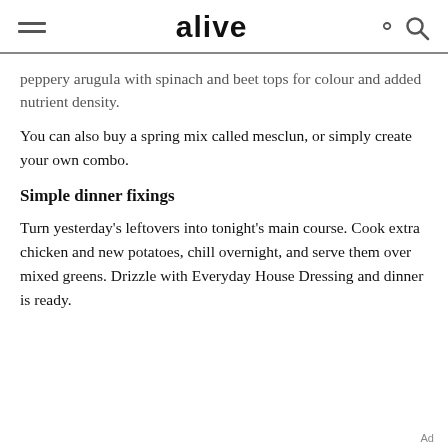alive
peppery arugula with spinach and beet tops for colour and added nutrient density.
You can also buy a spring mix called mesclun, or simply create your own combo.
Simple dinner fixings
Turn yesterday's leftovers into tonight's main course. Cook extra chicken and new potatoes, chill overnight, and serve them over mixed greens. Drizzle with Everyday House Dressing and dinner is ready.
Ad